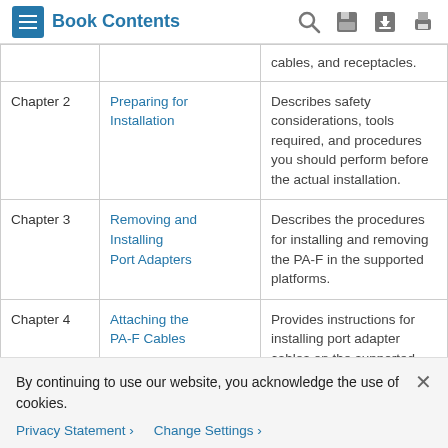Book Contents
|  |  |  |
| --- | --- | --- |
|  |  | cables, and receptacles. |
| Chapter 2 | Preparing for Installation | Describes safety considerations, tools required, and procedures you should perform before the actual installation. |
| Chapter 3 | Removing and Installing Port Adapters | Describes the procedures for installing and removing the PA-F in the supported platforms. |
| Chapter 4 | Attaching the PA-F Cables | Provides instructions for installing port adapter cables on the supported platforms. |
By continuing to use our website, you acknowledge the use of cookies.
Privacy Statement > Change Settings >